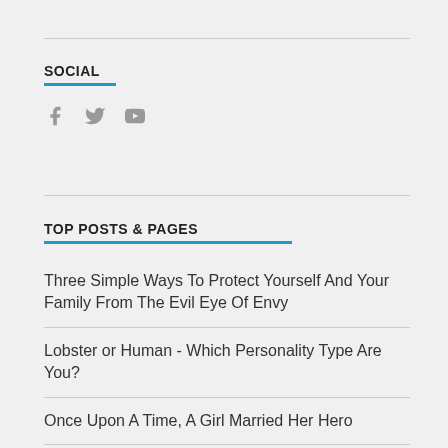SOCIAL
[Figure (illustration): Social media icons: Facebook, Twitter, YouTube]
TOP POSTS & PAGES
Three Simple Ways To Protect Yourself And Your Family From The Evil Eye Of Envy
Lobster or Human - Which Personality Type Are You?
Once Upon A Time, A Girl Married Her Hero
The Story Of The Nails In The Fence And How The Words